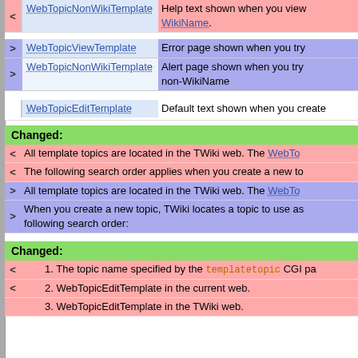| < | WebTopicNonWikiTemplate | Help text shown when you view a WikiName. |
| > | WebTopicViewTemplate | Error page shown when you try |
| > | WebTopicNonWikiTemplate | Alert page shown when you try non-WikiName |
|  | WebTopicEditTemplate | Default text shown when you create |
Changed:
< All template topics are located in the TWiki web. The WebTo...
< The following search order applies when you create a new to...
> All template topics are located in the TWiki web. The WebTo...
> When you create a new topic, TWiki locates a topic to use as following search order:
Changed:
1. The topic name specified by the templatetopic CGI pa
2. WebTopicEditTemplate in the current web.
3. WebTopicEditTemplate in the TWiki web.